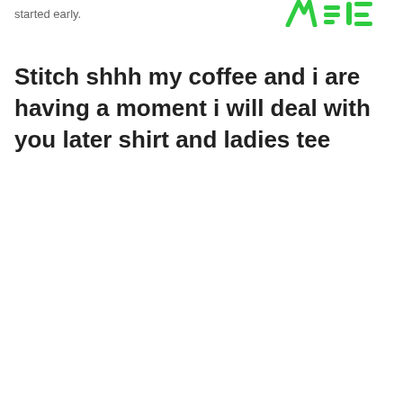[Figure (logo): Partial green logo visible at top right corner]
started early.
Stitch shhh my coffee and i are having a moment i will deal with you later shirt and ladies tee